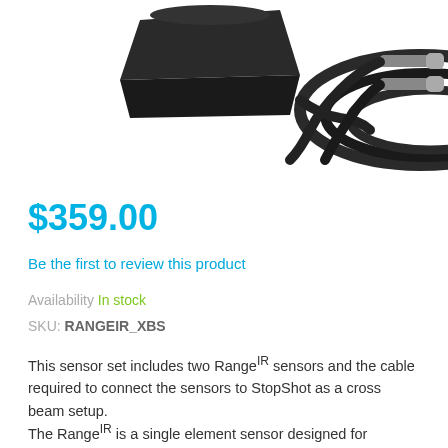[Figure (photo): Product photo showing two black RangeIR sensors and a black cable with RCA connectors on a white background]
$359.00
Be the first to review this product
Availability In stock
SKU: RANGEIR_XBS
This sensor set includes two RangeIR sensors and the cable required to connect the sensors to StopShot as a cross beam setup.
The RangeIR is a single element sensor designed for